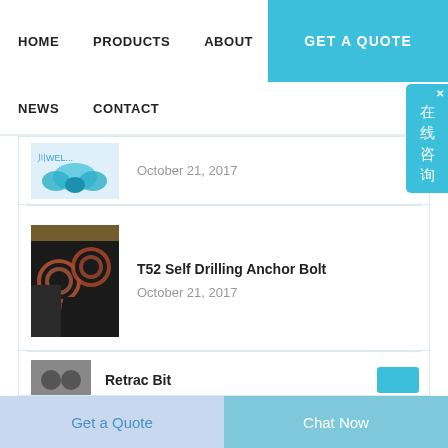HOME    PRODUCTS    ABOUT    GET A QUOTE    NEWS    CONTACT
[Figure (screenshot): Partial news item thumbnail showing blue drilling components, with date October 21, 2017]
October 21, 2017
[Figure (photo): Photo of metal drill rods/pipes stacked together]
T52 Self Drilling Anchor Bolt
October 21, 2017
Retrac Bit